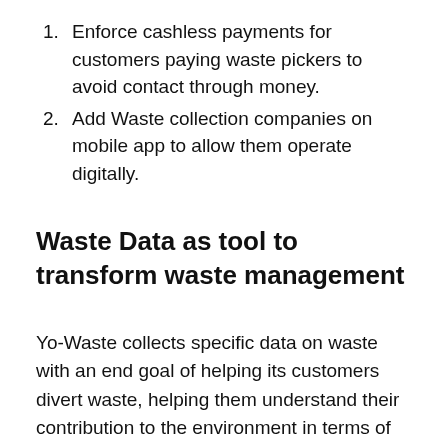Enforce cashless payments for customers paying waste pickers to avoid contact through money.
Add Waste collection companies on mobile app to allow them operate digitally.
Waste Data as tool to transform waste management
Yo-Waste collects specific data on waste with an end goal of helping its customers divert waste, helping them understand their contribution to the environment in terms of carbon emissions generated and the percentage drop of this through waste diverting.